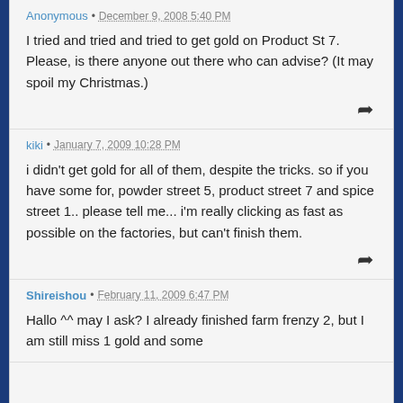Anonymous • December 9, 2008 5:40 PM
I tried and tried and tried to get gold on Product St 7. Please, is there anyone out there who can advise? (It may spoil my Christmas.)
kiki • January 7, 2009 10:28 PM
i didn't get gold for all of them, despite the tricks. so if you have some for, powder street 5, product street 7 and spice street 1.. please tell me... i'm really clicking as fast as possible on the factories, but can't finish them.
Shireishou • February 11, 2009 6:47 PM
Hallo ^^ may I ask? I already finished farm frenzy 2, but I am still miss 1 gold and some